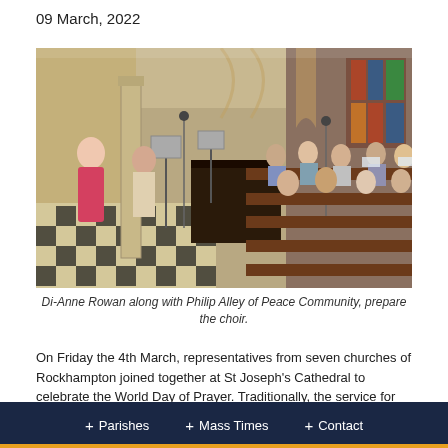09 March, 2022
[Figure (photo): Interior of St Joseph's Cathedral showing a woman in a floral dress conducting choir rehearsal. People sit in wooden pews while microphones and music stands are set up. The church has a checkered black and white floor and gothic arched windows.]
Di-Anne Rowan along with Philip Alley of Peace Community, prepare the choir.
On Friday the 4th March, representatives from seven churches of Rockhampton joined together at St Joseph's Cathedral to celebrate the World Day of Prayer. Traditionally, the service for these days is prepared
+ Parishes  + Mass Times  + Contact